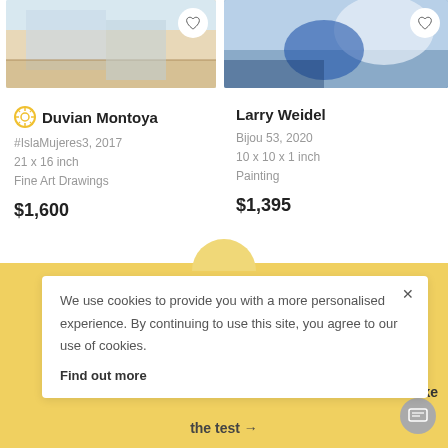[Figure (photo): Artwork image for #IslaMujeres3 by Duvian Montoya, fine art drawing showing interior/architectural scene]
[Figure (photo): Artwork image for Bijou 53 by Larry Weidel, painting with blue and white abstract forms]
Duvian Montoya
#IslaMujeres3, 2017
21 x 16 inch
Fine Art Drawings
$1,600
Larry Weidel
Bijou 53, 2020
10 x 10 x 1 inch
Painting
$1,395
We use cookies to provide you with a more personalised experience. By continuing to use this site, you agree to our use of cookies. Find out more
work now ? Take
the test →